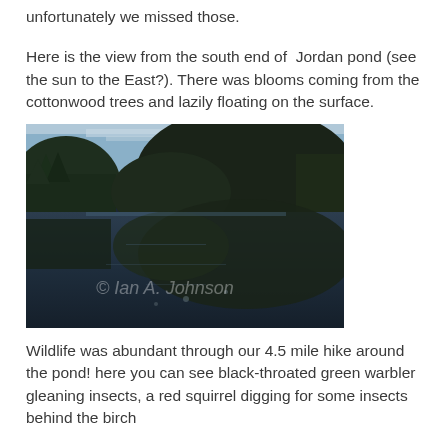unfortunately we missed those.
Here is the view from the south end of Jordan pond (see the sun to the East?). There was blooms coming from the cottonwood trees and lazily floating on the surface.
[Figure (photo): View from the south end of Jordan pond showing calm reflective water with forested hills and mountains in the background under a pale sky. Watermark reads '© Ian A. Johnson'.]
Wildlife was abundant through our 4.5 mile hike around the pond! here you can see black-throated green warbler gleaning insects, a red squirrel digging for some insects behind the birch